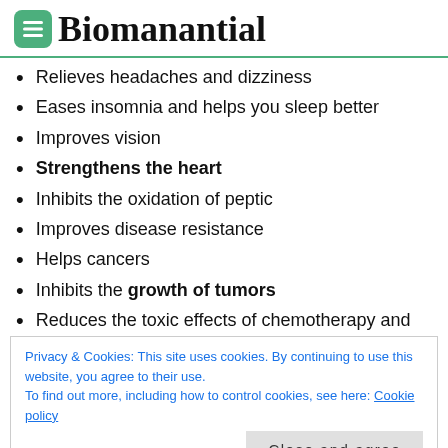Biomanantial
Relieves headaches and dizziness
Eases insomnia and helps you sleep better
Improves vision
Strengthens the heart
Inhibits the oxidation of peptic
Improves disease resistance
Helps cancers
Inhibits the growth of tumors
Reduces the toxic effects of chemotherapy and
Privacy & Cookies: This site uses cookies. By continuing to use this website, you agree to their use.
To find out more, including how to control cookies, see here: Cookie policy
It is very useful for dealing with effects of